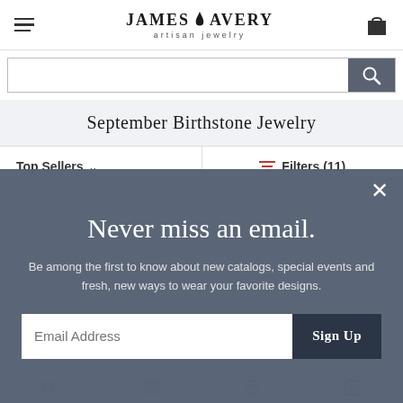James Avery Artisan Jewelry
September Birthstone Jewelry
Top Sellers  Filters (11)
Never miss an email.
Be among the first to know about new catalogs, special events and fresh, new ways to wear your favorite designs.
Email Address  Sign Up